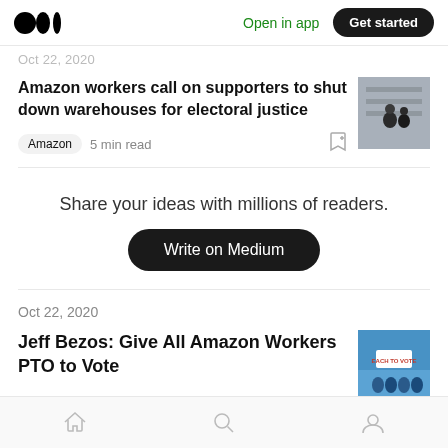Open in app  Get started
Oct 22, 2020
Amazon workers call on supporters to shut down warehouses for electoral justice
Amazon  5 min read
Share your ideas with millions of readers.
Write on Medium
Oct 22, 2020
Jeff Bezos: Give All Amazon Workers PTO to Vote